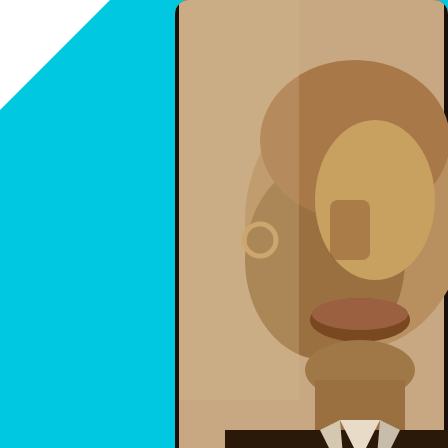[Figure (photo): Sepia-toned close-up portrait photograph of a person wearing a hoop earring and suit with tie, cropped to show lower face and upper body]
Posted by TypicalMiami in Events, General, Sports Tags: cane
Mobile library
September 14, 2012